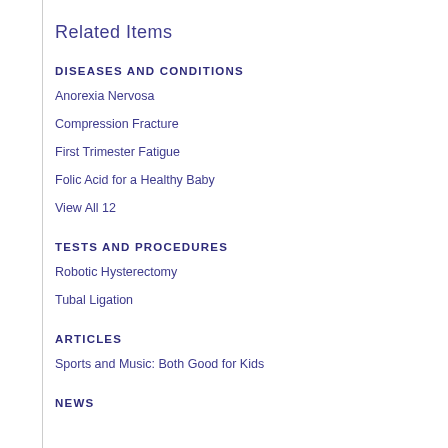Related Items
DISEASES AND CONDITIONS
Anorexia Nervosa
Compression Fracture
First Trimester Fatigue
Folic Acid for a Healthy Baby
View All 12
TESTS AND PROCEDURES
Robotic Hysterectomy
Tubal Ligation
ARTICLES
Sports and Music: Both Good for Kids
NEWS